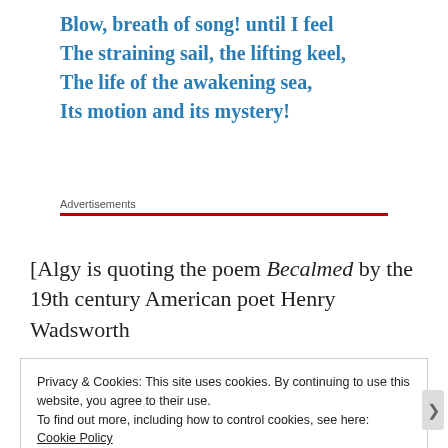Blow, breath of song! until I feel
The straining sail, the lifting keel,
The life of the awakening sea,
Its motion and its mystery!
Advertisements
[Algy is quoting the poem Becalmed by the 19th century American poet Henry Wadsworth
Privacy & Cookies: This site uses cookies. By continuing to use this website, you agree to their use.
To find out more, including how to control cookies, see here: Cookie Policy